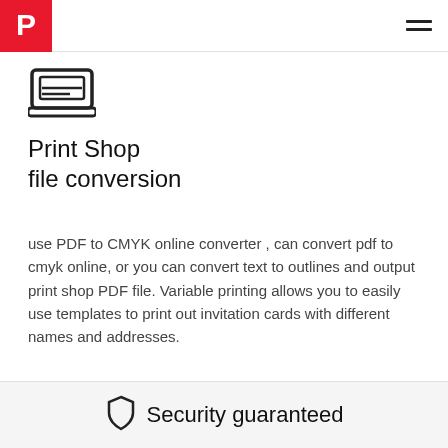P (logo) | hamburger menu
[Figure (illustration): Line icon of a laptop/tray device]
Print Shop
file conversion
use PDF to CMYK online converter , can convert pdf to cmyk online, or you can convert text to outlines and output print shop PDF file. Variable printing allows you to easily use templates to print out invitation cards with different names and addresses.
Security guaranteed